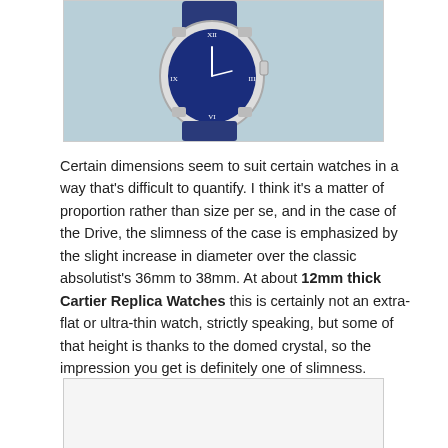[Figure (photo): A Cartier watch with a blue dial showing Roman numerals, silver case, and blue alligator leather strap, photographed on a light blue/grey surface.]
Certain dimensions seem to suit certain watches in a way that's difficult to quantify. I think it's a matter of proportion rather than size per se, and in the case of the Drive, the slimness of the case is emphasized by the slight increase in diameter over the classic absolutist's 36mm to 38mm. At about 12mm thick Cartier Replica Watches this is certainly not an extra-flat or ultra-thin watch, strictly speaking, but some of that height is thanks to the domed crystal, so the impression you get is definitely one of slimness.
[Figure (photo): Bottom portion of a second watch photo, partially visible at the bottom of the page.]